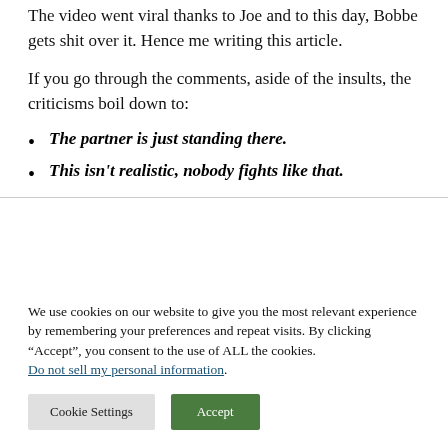The video went viral thanks to Joe and to this day, Bobbe gets shit over it. Hence me writing this article.
If you go through the comments, aside of the insults, the criticisms boil down to:
The partner is just standing there.
This isn't realistic, nobody fights like that.
We use cookies on our website to give you the most relevant experience by remembering your preferences and repeat visits. By clicking “Accept”, you consent to the use of ALL the cookies. Do not sell my personal information.